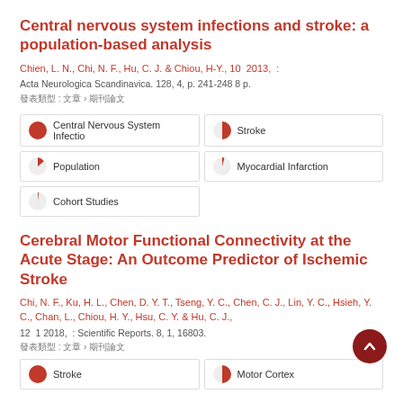Central nervous system infections and stroke: a population-based analysis
Chien, L. N., Chi, N. F., Hu, C. J. & Chiou, H-Y., 10 2013, : Acta Neurologica Scandinavica. 128, 4, p. 241-248 8 p.
發表類型 : 文章 › 期刊論文
[Figure (infographic): Keyword badges with pie chart icons: Central Nervous System Infectio (100%), Stroke (50%), Population (25%), Myocardial Infarction (12%), Cohort Studies (10%)]
Cerebral Motor Functional Connectivity at the Acute Stage: An Outcome Predictor of Ischemic Stroke
Chi, N. F., Ku, H. L., Chen, D. Y. T., Tseng, Y. C., Chen, C. J., Lin, Y. C., Hsieh, Y. C., Chan, L., Chiou, H. Y., Hsu, C. Y. & Hu, C. J., 12 1 2018, : Scientific Reports. 8, 1, 16803.
發表類型 : 文章 › 期刊論文
[Figure (infographic): Keyword badges at bottom: Stroke (100%), Motor Cortex (50%)]